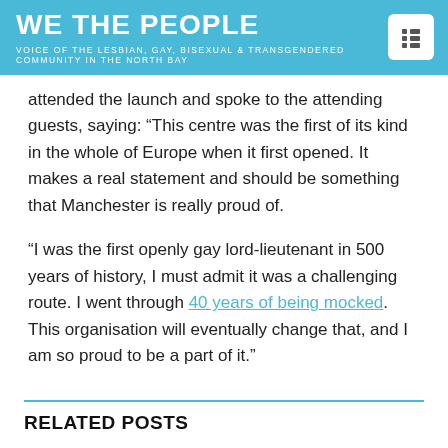WE THE PEOPLE
VOICE OF THE LESBIAN, GAY, BISEXUAL & TRANSGENDERED COMMUNITY IN THE NORTH BAY
attended the launch and spoke to the attending guests, saying: “This centre was the first of its kind in the whole of Europe when it first opened. It makes a real statement and should be something that Manchester is really proud of.
“I was the first openly gay lord-lieutenant in 500 years of history, I must admit it was a challenging route. I went through 40 years of being mocked. This organisation will eventually change that, and I am so proud to be a part of it.”
RELATED POSTS